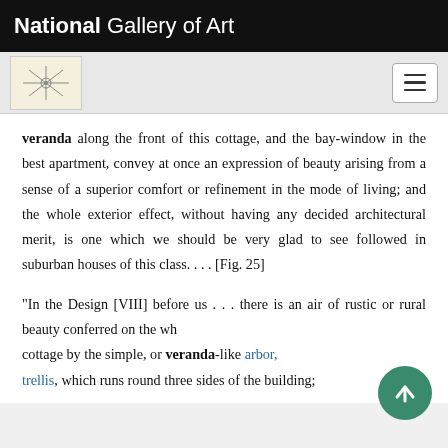National Gallery of Art
veranda along the front of this cottage, and the bay-window in the best apartment, convey at once an expression of beauty arising from a sense of a superior comfort or refinement in the mode of living; and the whole exterior effect, without having any decided architectural merit, is one which we should be very glad to see followed in suburban houses of this class. . . . [Fig. 25]
"In the Design [VIII] before us . . . there is an air of rustic or rural beauty conferred on the whole cottage by the simple, or veranda-like arbor, trellis, which runs round three sides of the building;